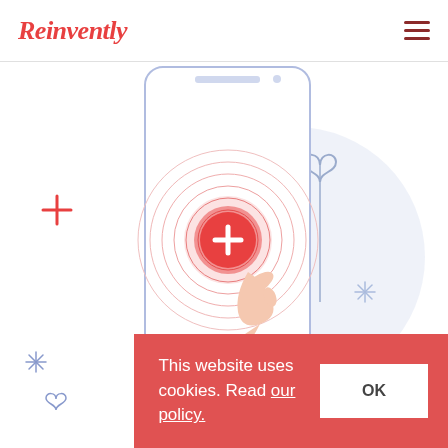Reinvently
[Figure (illustration): Medical app illustration showing a smartphone with concentric circles and a red cross/plus button being tapped by a finger. Decorative plus signs, hearts, and sparkle icons in red and light blue are scattered around the phone on a white background with a light blue circular shape behind the phone.]
This website uses cookies. Read our policy.
OK